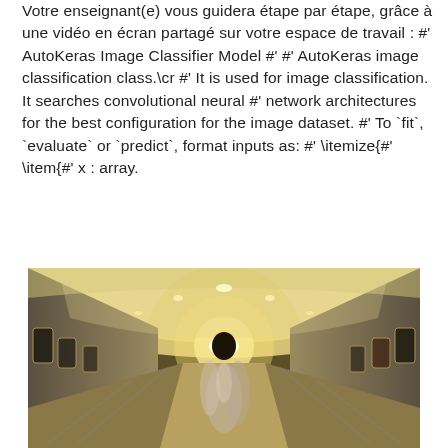Votre enseignant(e) vous guidera étape par étape, grâce à une vidéo en écran partagé sur votre espace de travail : #' AutoKeras Image Classifier Model #' #' AutoKeras image classification class.\cr #' It is used for image classification. It searches convolutional neural #' network architectures for the best configuration for the image dataset. #' To `fit`, `evaluate` or `predict`, format inputs as: #' \itemize{#' \item{#' x : array.
[Figure (photo): A perspective view looking down a long underground metro/subway tunnel with moving walkways or escalators. People are visible in motion blur in the center, and the tunnel has arched white ceiling with lights. The image has a warm yellowish tone.]